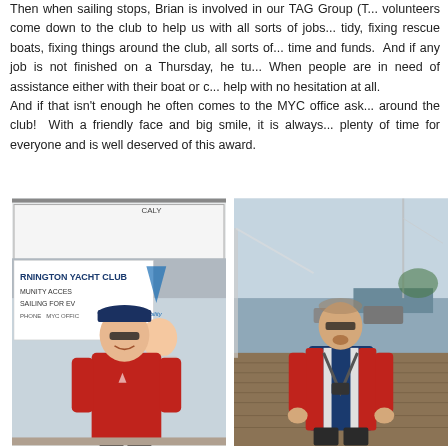Then when sailing stops, Brian is involved in our TAG Group (T... volunteers come down to the club to help us with all sorts of jobs... tidy, fixing rescue boats, fixing things around the club, all sorts of... time and funds. And if any job is not finished on a Thursday, he tu... When people are in need of assistance either with their boat or c... help with no hesitation at all. And if that isn't enough he often comes to the MYC office ask... around the club! With a friendly face and big smile, it is always... plenty of time for everyone and is well deserved of this award.
[Figure (photo): Man in red polo shirt and cap smiling in front of a Mornington Yacht Club banner, with another person behind him]
[Figure (photo): Older man wearing a red, white, and navy sailing jacket with a harness, standing on a dock with water and marina in background]